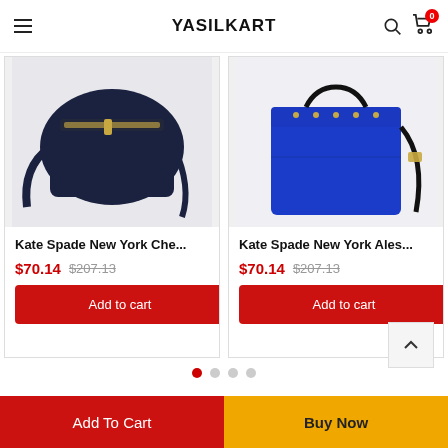YASILKART
[Figure (photo): Dark navy leather crossbody bag with gold zipper and strap, Kate Spade New York Che...]
Kate Spade New York Che...
$70.14 $207.13
Add to cart
[Figure (photo): Bright blue structured satchel handbag with studs and crossbody strap, Kate Spade New York Ales...]
Kate Spade New York Ales...
$70.14 $207.13
Add to cart
Add To Cart
Buy Now